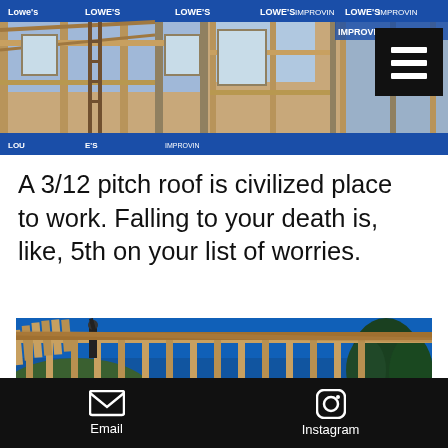[Figure (photo): Top banner photo strip showing wood framing construction of a building, with Lowe's branding banners at top and bottom. A hamburger menu icon appears in the upper right corner over a black square.]
A 3/12 pitch roof is civilized place to work. Falling to your death is, like, 5th on your list of worries.
[Figure (photo): Construction photo showing a person working on low-pitch roof framing against a clear blue sky, with Lowe's branded wrapping visible on the structure below. Trees visible in background.]
Email    Instagram